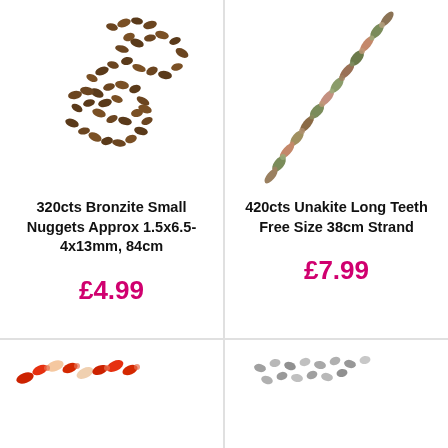[Figure (photo): Bronzite small nuggets beads strand, dark brown/bronze irregular chips loosely coiled]
320cts Bronzite Small Nuggets Approx 1.5x6.5-4x13mm, 84cm
£4.99
[Figure (photo): Unakite long teeth beads strand, diagonal line of irregular multicolor chips on white background]
420cts Unakite Long Teeth Free Size 38cm Strand
£7.99
[Figure (photo): Partial view of red/coral beads strand, bottom row left card]
[Figure (photo): Partial view of grey/labradorite chip beads strand, bottom row right card]